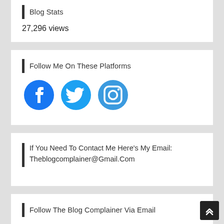Blog Stats
27,296 views
Follow Me On These Platforms
[Figure (illustration): Three social media icons in blue: Facebook, Twitter, Instagram]
If You Need To Contact Me Here's My Email: Theblogcomplainer@Gmail.Com
Follow The Blog Complainer Via Email
Enter your email address to follow The Blog Complainer and receive notifications of new posts by email.